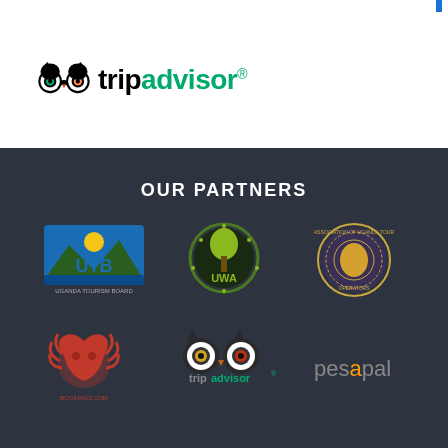[Figure (logo): TripAdvisor logo with owl icon, 'trip' in black bold and 'advisor' in green bold]
OUR PARTNERS
[Figure (logo): UTB - Uganda Tourism Board logo]
[Figure (logo): UWA - Uganda Wildlife Authority logo]
[Figure (logo): Association of Uganda Tour Operators circular seal logo]
[Figure (logo): Bookings.com red lion logo]
[Figure (logo): TripAdvisor owl logo]
[Figure (logo): PesaPal payment logo]